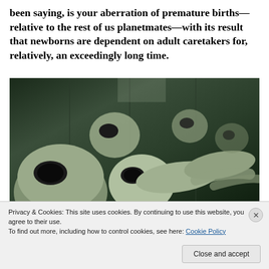been saying, is your aberration of premature births—relative to the rest of us planetmates—with its result that newborns are dependent on adult caretakers for, relatively, an exceedingly long time.
[Figure (photo): Multiple alien figurines (grey aliens) lying in a row, reflected in mirrors, in a dark greenish display setting.]
Privacy & Cookies: This site uses cookies. By continuing to use this website, you agree to their use.
To find out more, including how to control cookies, see here: Cookie Policy